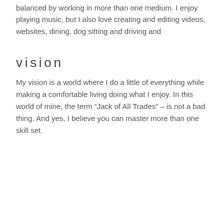balanced by working in more than one medium. I enjoy playing music, but I also love creating and editing videos, websites, dining, dog sitting and driving and
vision
My vision is a world where I do a little of everything while making a comfortable living doing what I enjoy. In this world of mine, the term “Jack of All Trades” – is not a bad thing. And yes, I believe you can master more than one skill set.